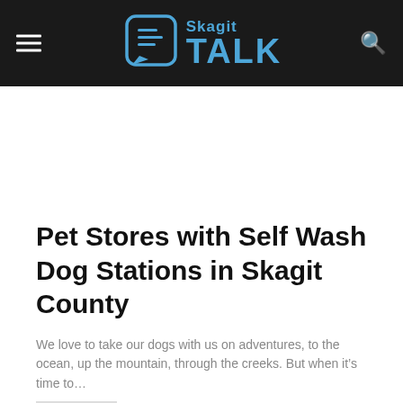Skagit Talk
Pet Stores with Self Wash Dog Stations in Skagit County
We love to take our dogs with us on adventures, to the ocean, up the mountain, through the creeks. But when it’s time to…
PeaceHealth In-School Clinic Brings Convenient Care to Sedro-Woolley High Schoolers